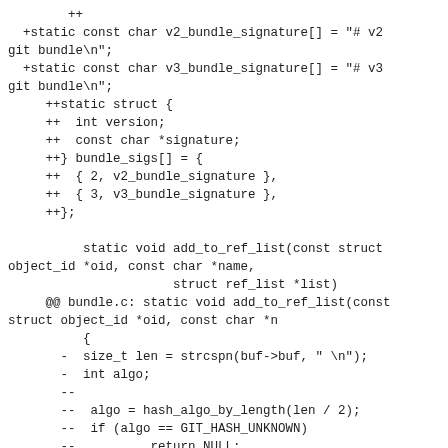++
 +static const char v2_bundle_signature[] = "# v2 git bundle\n";
 +static const char v3_bundle_signature[] = "# v3 git bundle\n";
 ++static struct {
 ++  int version;
 ++  const char *signature;
 ++} bundle_sigs[] = {
 ++  { 2, v2_bundle_signature },
 ++  { 3, v3_bundle_signature },
 ++};

      static void add_to_ref_list(const struct object_id *oid, const char *name,
                      struct ref_list *list)
   @@ bundle.c: static void add_to_ref_list(const struct object_id *oid, const char *n
      {
    -  size_t len = strcspn(buf->buf, " \n");
    -  int algo;
    --
    --  algo = hash_algo_by_length(len / 2);
    --  if (algo == GIT_HASH_UNKNOWN)
    --          return NULL;
    --  return &hash_algos[algo];
    +  const char *arg;
    +  if (skip_prefix(capability, "object-format=", &arg)) {
    +          int algo = hash_algo_by_name(arg);